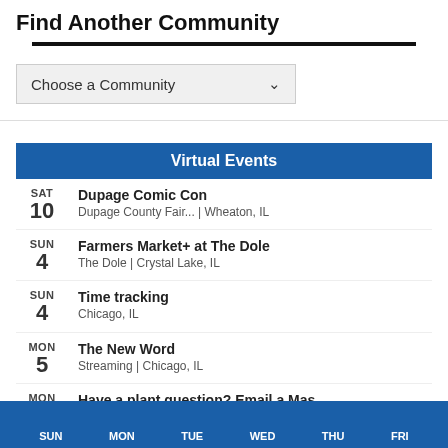Find Another Community
[Figure (screenshot): Dropdown selector labeled 'Choose a Community' with a chevron arrow on the right]
Virtual Events
SAT 10 | Dupage Comic Con | Dupage County Fair... | Wheaton, IL
SUN 4 | Farmers Market+ at The Dole | The Dole | Crystal Lake, IL
SUN 4 | Time tracking | Chicago, IL
MON 5 | The New Word | Streaming | Chicago, IL
MON 5 | Have a plant question? Email a Mas... | Master Gardener An... | Arlington Heights, IL
SUN MON TUE WED THU FRI